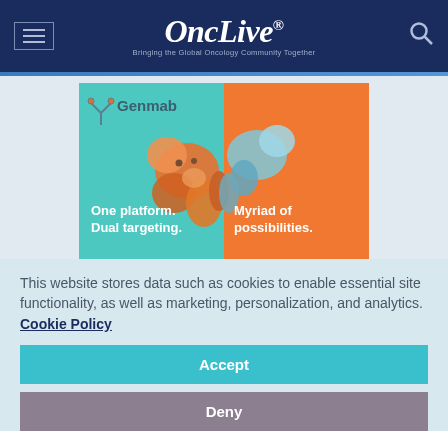OncLive® — Bringing the Global Oncology Community Together
[Figure (illustration): Genmab advertisement showing a bispecific antibody molecule split across a teal and orange background. Left teal side: 'One platform. Dual targeting.' Right orange side: 'Myriad of possibilities.' Genmab logo at top left with Y-shaped antibody icon.]
This website stores data such as cookies to enable essential site functionality, as well as marketing, personalization, and analytics. Cookie Policy
Accept
Deny